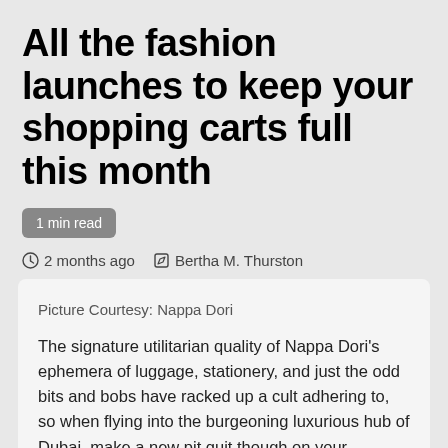All the fashion launches to keep your shopping carts full this month
1 min read
2 months ago  Bertha M. Thurston
Picture Courtesy: Nappa Dori
The signature utilitarian quality of Nappa Dori's ephemera of luggage, stationery, and just the odd bits and bobs have racked up a cult adhering to, so when flying into the burgeoning luxurious hub of Dubai, make a new pit quit though on your purchasing tour. Legitimate to the Nappa Dori brand of harnessing that raw and organic and natural vibe as a symbol of design and style, the new store imbibes the elements from the warehouse-themed room